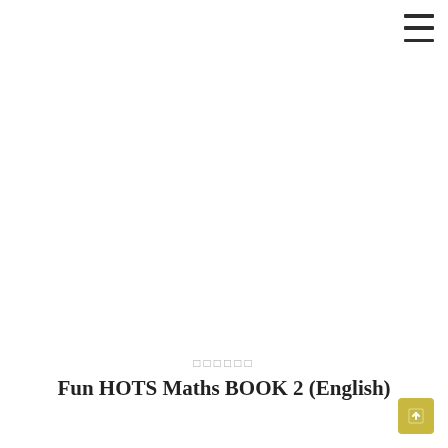[Figure (other): Hamburger menu icon (three horizontal lines) in top right corner]
□□□□□□
Fun HOTS Maths BOOK 2 (English)
[Figure (other): Small yellow/gold scroll-to-top button in bottom right corner]